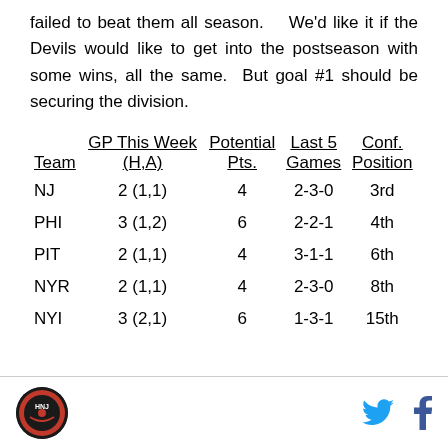failed to beat them all season.   We'd like it if the Devils would like to get into the postseason with some wins, all the same.  But goal #1 should be securing the division.
| Team | GP This Week (H,A) | Potential Pts. | Last 5 Games | Conf. Position |
| --- | --- | --- | --- | --- |
| NJ | 2 (1,1) | 4 | 2-3-0 | 3rd |
| PHI | 3 (1,2) | 6 | 2-2-1 | 4th |
| PIT | 2 (1,1) | 4 | 3-1-1 | 6th |
| NYR | 2 (1,1) | 4 | 2-3-0 | 8th |
| NYI | 3 (2,1) | 6 | 1-3-1 | 15th |
Logo and social media icons